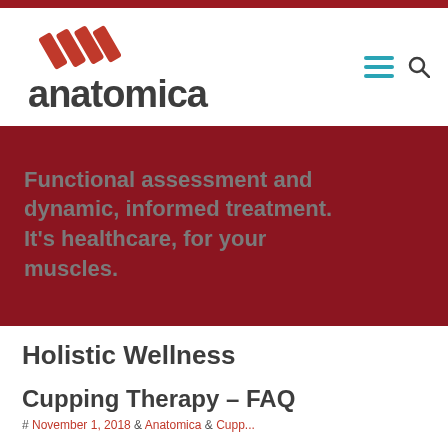[Figure (logo): Anatomica logo with red diagonal stripes icon and dark grey 'anatomica' wordmark]
Functional assessment and dynamic, informed treatment. It’s healthcare, for your muscles.
Holistic Wellness
Cupping Therapy – FAQ
# November 1, 2018 & Anatomica & Cupping ...